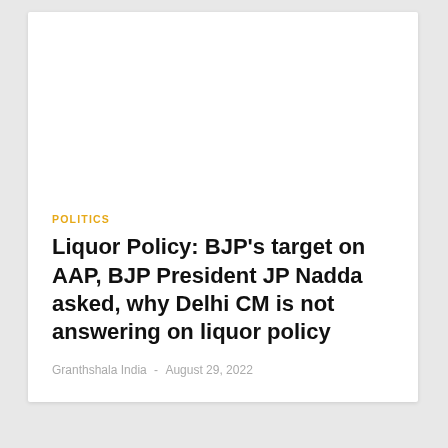POLITICS
Liquor Policy: BJP's target on AAP, BJP President JP Nadda asked, why Delhi CM is not answering on liquor policy
Granthshala India  -  August 29, 2022